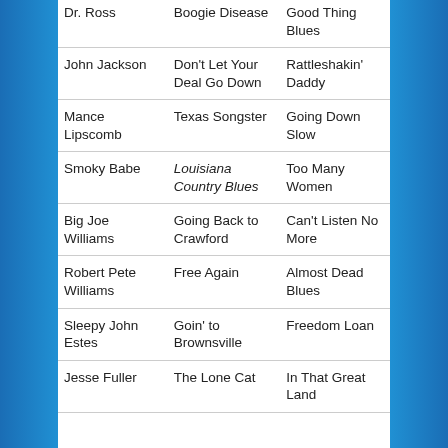| Artist | Album | Song |
| --- | --- | --- |
| Dr. Ross | Boogie Disease | Good Thing Blues |
| John Jackson | Don't Let Your Deal Go Down | Rattleshakin' Daddy |
| Mance Lipscomb | Texas Songster | Going Down Slow |
| Smoky Babe | Louisiana Country Blues | Too Many Women |
| Big Joe Williams | Going Back to Crawford | Can't Listen No More |
| Robert Pete Williams | Free Again | Almost Dead Blues |
| Sleepy John Estes | Goin' to Brownsville | Freedom Loan |
| Jesse Fuller | The Lone Cat | In That Great Land |